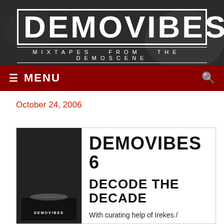DEMOVIBES — MIXTAPES FROM THE DEMOSCENE
MENU
October 24, 2006
DEMOVIBES 6
DECODE THE DECADE
With curating help of Irekes /